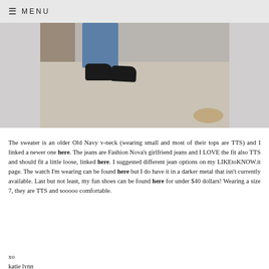≡ MENU
[Figure (photo): Photo of person's legs in blue jeans and black slip-on shoes standing on a concrete surface next to a wall with leaves on the ground]
The sweater is an older Old Navy v-neck (wearing small and most of their tops are TTS) and I linked a newer one here. The jeans are Fashion Nova's girlfriend jeans and I LOVE the fit also TTS and should fit a little loose, linked here. I suggested different jean options on my LIKEtoKNOW.it page. The watch I'm wearing can be found here but I do have it in a darker metal that isn't currently available. Last but not least, my fun shoes can be found here for under $40 dollars! Wearing a size 7, they are TTS and sooooo comfortable.
xo
katie lynn